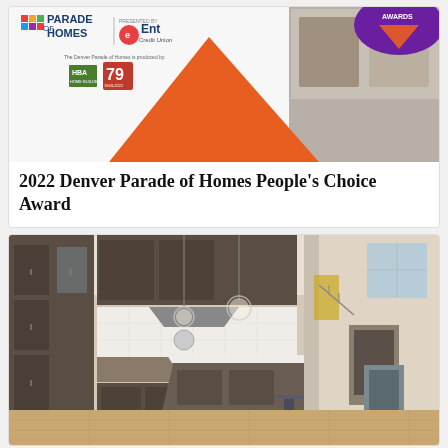[Figure (photo): Parade of Homes presented by Ent Credit Union banner image with awards badge, orange triangle graphic, and interior home photo collage. The Denver Parade of Homes is produced by HBA and shows '79' anniversary logo.]
2022 Denver Parade of Homes People's Choice Award
[Figure (photo): Interior photo of a modern kitchen with dark gray/brown cabinetry, white quartz island countertop, globe pendant lights, subway tile backsplash, stainless steel appliances, light hardwood floors, and bar stools at the island. An open living area with a fireplace and staircase is visible in the background right.]